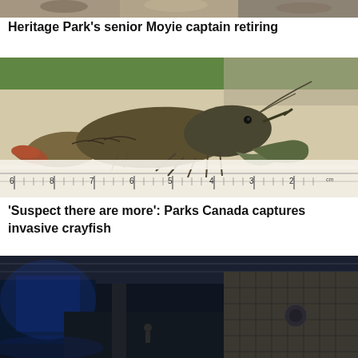[Figure (photo): Top portion of a photo, likely related to Heritage Park Moyie captain story — partial view of people or vessel]
Heritage Park's senior Moyie captain retiring
[Figure (photo): A crayfish/crawfish sitting on a white measuring ruler, viewed from the side. The ruler shows measurements from approximately 2 to 9 cm. Background shows green and lab equipment.]
'Suspect there are more': Parks Canada captures invasive crayfish
[Figure (photo): Bottom portion of a photo showing what appears to be a large indoor space with blue lighting, possibly an arena or public building interior.]